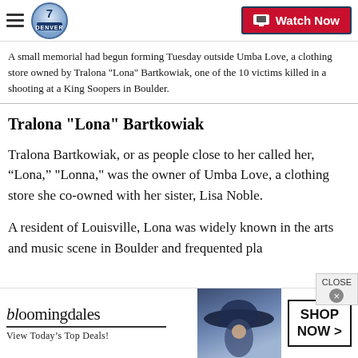Denver7 — Watch Now
A small memorial had begun forming Tuesday outside Umba Love, a clothing store owned by Tralona "Lona" Bartkowiak, one of the 10 victims killed in a shooting at a King Soopers in Boulder.
Tralona "Lona" Bartkowiak
Tralona Bartkowiak, or as people close to her called her, “Lona,” "Lonna," was the owner of Umba Love, a clothing store she co-owned with her sister, Lisa Noble.
A resident of Louisville, Lona was widely known in the arts and music scene in Boulder and frequented pla
[Figure (screenshot): Bloomingdale's advertisement banner: logo, 'View Today's Top Deals!', woman in wide-brim hat, 'SHOP NOW >' button]